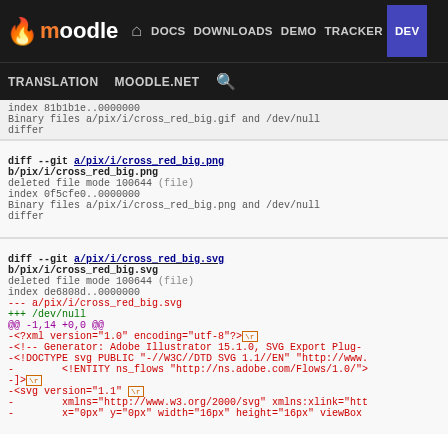moodle  DOCS  DOWNLOADS  DEMO  TRACKER  DEV  TRANSLATION  MOODLE.NET
index 81b1b1e..0000000
Binary files a/pix/i/cross_red_big.gif and /dev/null differ
diff --git a/pix/i/cross_red_big.png b/pix/i/cross_red_big.png
deleted file mode 100644 (file)
index 0f5cfe0..0000000
Binary files a/pix/i/cross_red_big.png and /dev/null differ
diff --git a/pix/i/cross_red_big.svg b/pix/i/cross_red_big.svg
deleted file mode 100644 (file)
index de6808d..0000000
--- a/pix/i/cross_red_big.svg
+++ /dev/null
@@ -1,14 +0,0 @@
-<?xml version="1.0" encoding="utf-8"?>\r
-<!-- Generator: Adobe Illustrator 15.1.0, SVG Export Plug-
-<!DOCTYPE svg PUBLIC "-//W3C//DTD SVG 1.1//EN" "http://www.
-       <!ENTITY ns_flows "http://ns.adobe.com/Flows/1.0/">
-]>\r
-<svg version="1.1" \r
-        xmlns="http://www.w3.org/2000/svg" xmlns:xlink="htt
-        x="0px" y="0px" width="16px" height="16px" viewBox